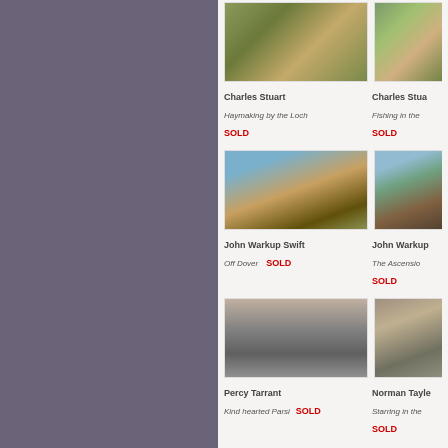[Figure (photo): Painting: Haymaking by the Loch by Charles Stuart]
Charles Stuart
Haymaking by the Loch
SOLD
[Figure (photo): Painting: Fishing in the... by Charles Stuart (partially visible)]
Charles Stuart
Fishing in the...
SOLD
[Figure (photo): Painting: Off Dover by John Warkup Swift]
John Warkup Swift
Off Dover  SOLD
[Figure (photo): Painting: The Ascension... by John Warkup (partially visible)]
John Warkup...
The Ascension...
SOLD
[Figure (photo): Painting: Kind hearted Parsi by Percy Tarrant]
Percy Tarrant
Kind hearted Parsi  SOLD
[Figure (photo): Painting: Starring in the... by Norman Taylor (partially visible)]
Norman Taylor...
Starring in the...
SOLD